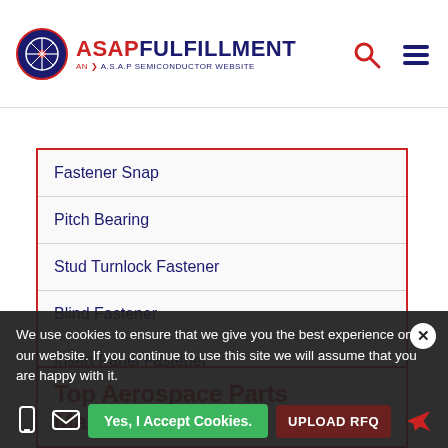ASAP FULFILLMENT – AN A.S.A.P SEMICONDUCTOR WEBSITE
Fastener Snap
Pitch Bearing
Stud Turnlock Fastener
Blind Fastener
Insert Panel Fastener
Flanged Bearing
Top Aerospace Parts Manufacturers
We use cookies to ensure that we give you the best experience on our website. If you continue to use this site we will assume that you are happy with it.